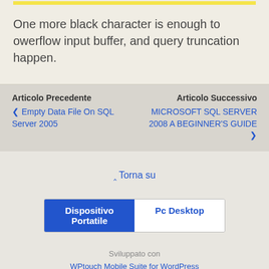One more black character is enough to owerflow input buffer, and query truncation happen.
Articolo Precedente
❮ Empty Data File On SQL Server 2005
Articolo Successivo
MICROSOFT SQL SERVER 2008 A BEGINNER'S GUIDE ❯
⋀ Torna su
Dispositivo Portatile | Pc Desktop
Sviluppato con
WPtouch Mobile Suite for WordPress